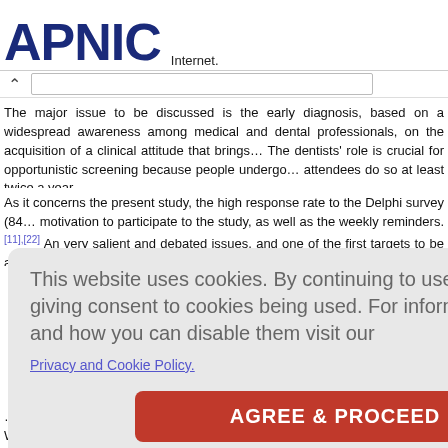APNIC — Internet.
The major issue to be discussed is the early diagnosis, based on a widespread awareness among medical and dental professionals, on the acquisition of a clinical attitude that brings… The dentists' role is crucial for opportunistic screening because people undergo… attendees do so at least twice a year.
As it concerns the present study, the high response rate to the Delphi survey (84…) motivation to participate to the study, as well as the weekly reminders.[11],[22] And very salient and debated issues, and one of the first targets to be achieved in the m…
Cookie consent overlay: This website uses cookies. By continuing to use this website you are giving consent to cookies being used. For information on cookies and how you can disable them visit our Privacy and Cookie Policy. [AGREE & PROCEED button]
…t of 33 (30%…) among the three groups. On the basis of the Mann–Whitney U test [Table 4], the di…